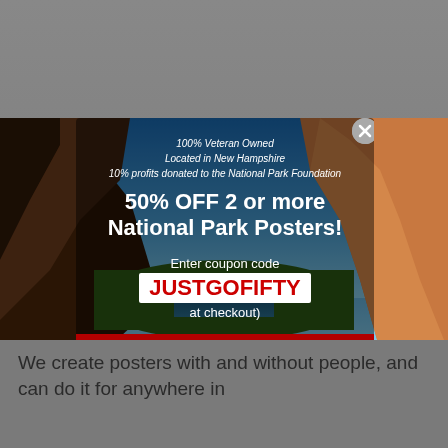[Figure (photo): Aerial view of Zion National Park canyon landscape with red rock cliffs, a river valley, and blue sky. A modal popup overlay is displayed on top.]
100% Veteran Owned
Located in New Hampshire
10% profits donated to the National Park Foundation
50% OFF 2 or more National Park Posters!
Enter coupon code JUSTGOFIFTY at checkout)
Continue Shopping
We create posters with and without people, and can do it for anywhere in